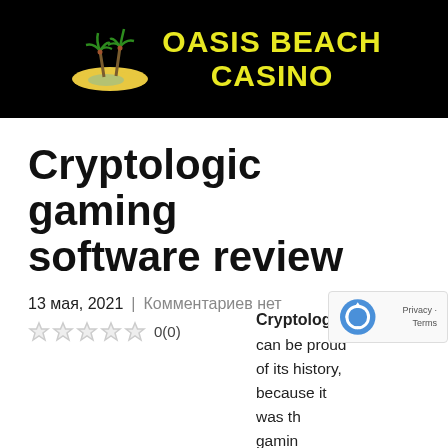[Figure (logo): Oasis Beach Casino logo: palm tree island illustration with yellow bold text 'OASIS BEACH CASINO' on black background]
Cryptologic gaming software review
13 мая, 2021  |  Комментариев нет
★★★★★ 0(0)
Cryptologic can be proud of its history, because it was th[e first] gamin[g] software to
[Figure (logo): Google reCAPTCHA badge with recycling arrow icon and 'Privacy · Terms' text]